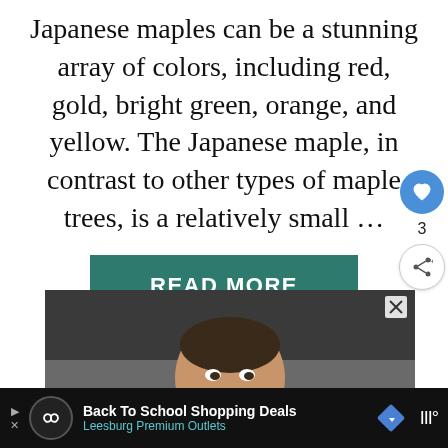Japanese maples can be a stunning array of colors, including red, gold, bright green, orange, and yellow. The Japanese maple, in contrast to other types of maple trees, is a relatively small …
READ MORE
[Figure (photo): A young boy looking upward thoughtfully in a classroom setting]
[Figure (infographic): Advertisement bar: Back To School Shopping Deals - Leesburg Premium Outlets, with navigation icons]